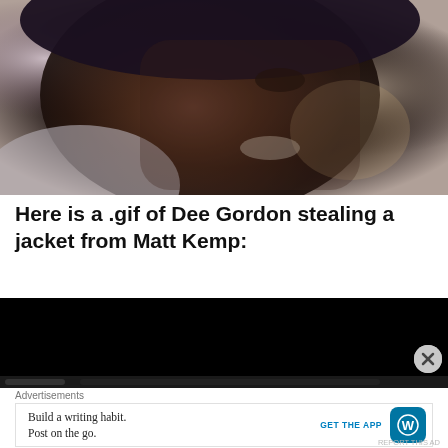[Figure (photo): Close-up photo of Dee Gordon, a baseball player wearing a blue cap, smiling, with a blurred background]
Here is a .gif of Dee Gordon stealing a jacket from Matt Kemp:
[Figure (screenshot): Black video/gif player area showing a dark frame]
Advertisements
Build a writing habit. Post on the go. GET THE APP [WordPress logo]